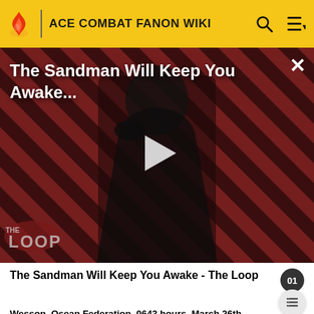ACE COMBAT FANON WIKI
[Figure (screenshot): Video thumbnail for 'The Sandman Will Keep You Awake...' with a dark-cloaked figure against a diagonal red/dark striped background, a play button overlay, and 'THE LOOP' logo in lower-left corner. A close (X) button appears top-right.]
The Sandman Will Keep You Awake - The Loop
Wesson, Osean Federation, 0643 hours, March 26th, 2048,
Following their landing back at Wesson, the four pilots each climbed out of their aircraft and reported